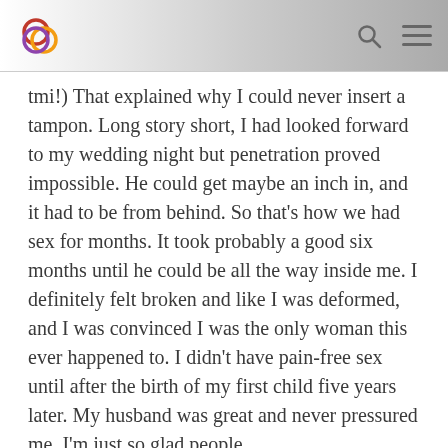tmi!) That explained why I could never insert a tampon. Long story short, I had looked forward to my wedding night but penetration proved impossible. He could get maybe an inch in, and it had to be from behind. So that's how we had sex for months. It took probably a good six months until he could be all the way inside me. I definitely felt broken and like I was deformed, and I was convinced I was the only woman this ever happened to. I didn't have pain-free sex until after the birth of my first child five years later. My husband was great and never pressured me. I'm just so glad people